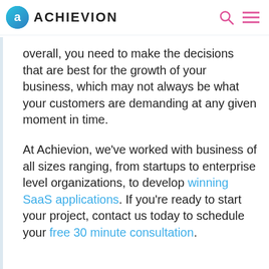ACHIEVION
overall, you need to make the decisions that are best for the growth of your business, which may not always be what your customers are demanding at any given moment in time.
At Achievion, we've worked with business of all sizes ranging, from startups to enterprise level organizations, to develop winning SaaS applications. If you're ready to start your project, contact us today to schedule your free 30 minute consultation.